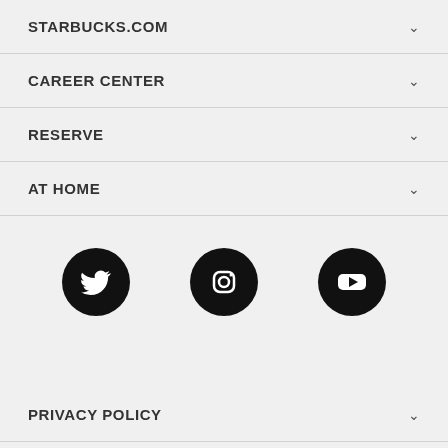STARBUCKS.COM
CAREER CENTER
RESERVE
AT HOME
[Figure (illustration): Three social media icons (Twitter, Instagram, YouTube) displayed as white icons on black circular backgrounds]
PRIVACY POLICY